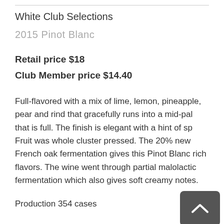White Club Selections
2015 Pinot Blanc
Retail price $18
Club Member price $14.40
Full-flavored with a mix of lime, lemon, pineapple, pear and rind that gracefully runs into a mid-palate that is full. The finish is elegant with a hint of spice. Fruit was whole cluster pressed. The 20% new French oak fermentation gives this Pinot Blanc rich flavors. The wine went through partial malolactic fermentation which also gives soft creamy notes.
Production 354 cases